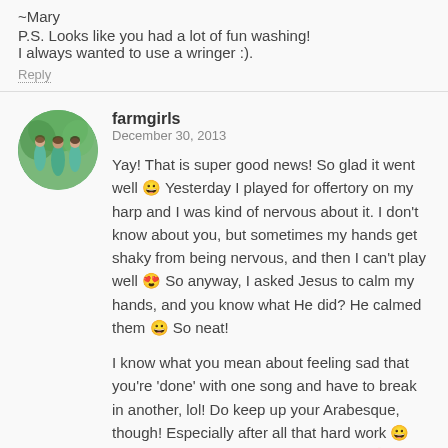~Mary
P.S. Looks like you had a lot of fun washing! I always wanted to use a wringer :).
Reply
farmgirls
December 30, 2013

Yay! That is super good news! So glad it went well 😀 Yesterday I played for offertory on my harp and I was kind of nervous about it. I don't know about you, but sometimes my hands get shaky from being nervous, and then I can't play well 😍 So anyway, I asked Jesus to calm my hands, and you know what He did? He calmed them 😀 So neat!

I know what you mean about feeling sad that you're 'done' with one song and have to break in another, lol! Do keep up your Arabesque, though! Especially after all that hard work 😀 Thanks for letting us know how it went 😀
Happy New Year!
♥Jessica
Reply